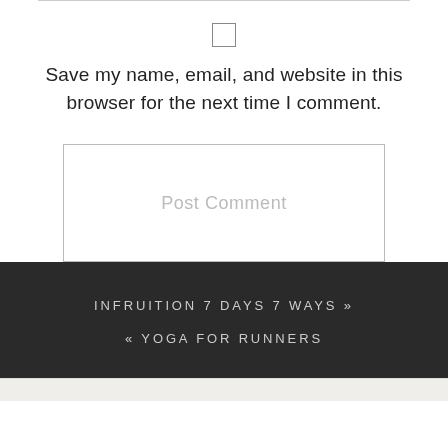Save my name, email, and website in this browser for the next time I comment.
Post Comment
INFRUITION 7 DAYS 7 WAYS »
« YOGA FOR RUNNERS